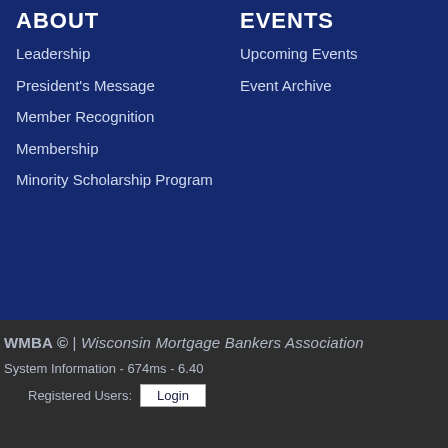ABOUT
Leadership
President's Message
Member Recognition
Membership
Minority Scholarship Program
EVENTS
Upcoming Events
Event Archive
WMBA © | Wisconsin Mortgage Bankers Association
System Information - 674ms - 6.40
Registered Users: Login